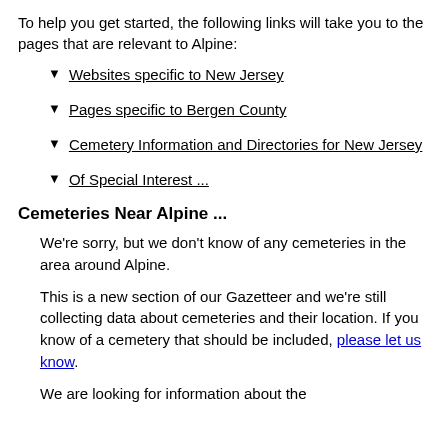To help you get started, the following links will take you to the pages that are relevant to Alpine:
Websites specific to New Jersey
Pages specific to Bergen County
Cemetery Information and Directories for New Jersey
Of Special Interest ...
Cemeteries Near Alpine ...
We're sorry, but we don't know of any cemeteries in the area around Alpine.
This is a new section of our Gazetteer and we're still collecting data about cemeteries and their location. If you know of a cemetery that should be included, please let us know.
We are looking for information about the